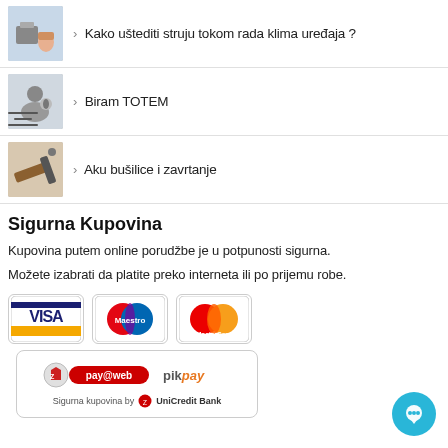Kako uštediti struju tokom rada klima uređaja ?
Biram TOTEM
Aku bušilice i zavrtanje
Sigurna Kupovina
Kupovina putem online porudžbe je u potpunosti sigurna.
Možete izabrati da platite preko interneta ili po prijemu robe.
[Figure (logo): Payment method logos: VISA, Maestro, MasterCard cards and pay@web / pikpay / UniCredit Bank logos]